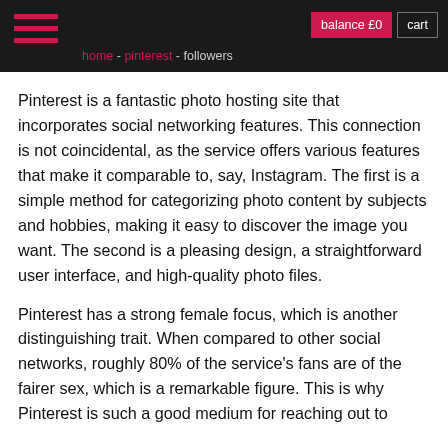home - pinterest - followers | balance £0 | cart
Pinterest is a fantastic photo hosting site that incorporates social networking features. This connection is not coincidental, as the service offers various features that make it comparable to, say, Instagram. The first is a simple method for categorizing photo content by subjects and hobbies, making it easy to discover the image you want. The second is a pleasing design, a straightforward user interface, and high-quality photo files.
Pinterest has a strong female focus, which is another distinguishing trait. When compared to other social networks, roughly 80% of the service's fans are of the fairer sex, which is a remarkable figure. This is why Pinterest is such a good medium for reaching out to